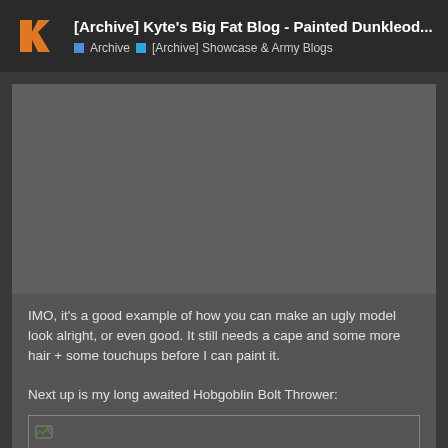[Archive] Kyte's Big Fat Blog - Painted Dunkleod... | Archive | [Archive] Showcase & Army Blogs
[Figure (screenshot): Grey image placeholder area representing a painted model photo]
IMO, it's a good example of how you can make an ugly model look alright, or even good. It still needs a cape and some more hair + some touchups before I can paint it.

Next up is my long awaited Hobgoblin Bolt Thrower:
[Figure (photo): Broken/loading image placeholder for Hobgoblin Bolt Thrower]
5 / 307